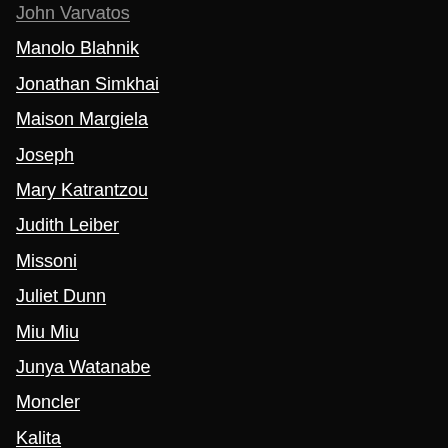John Varvatos
Manolo Blahnik
Jonathan Simkhai
Maison Margiela
Joseph
Mary Katrantzou
Judith Leiber
Missoni
Juliet Dunn
Miu Miu
Junya Watanabe
Moncler
Kalita
Moncler Genius